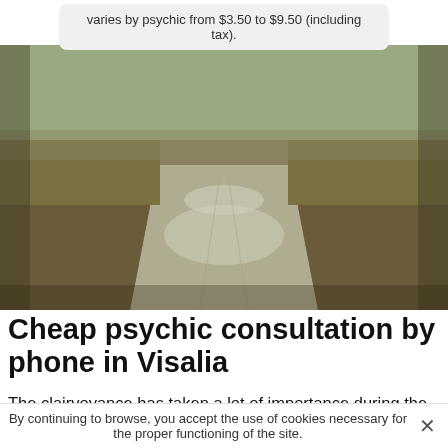varies by psychic from $3.50 to $9.50 (including tax).
[Figure (photo): A dirt road or path stretching into the distance, flanked by dry grass and earth tones. The road has puddles/wet patches and curves slightly.]
Cheap psychic consultation by phone in Visalia
The clairvoyance has taken a lot of importance during the last years. Thanks to it, it is possible to know the significant events of its life that it is on the past, the present or the future. Many people are involved in this practice nowadays since the psychic reading sector offers several
By continuing to browse, you accept the use of cookies necessary for the proper functioning of the site.